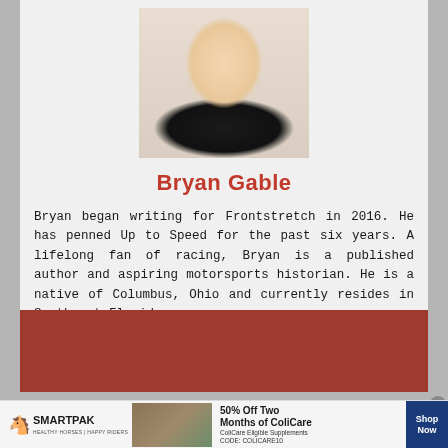[Figure (photo): Headshot photo of Bryan Gable, a young man with short dark hair wearing a black shirt, against a light beige background]
Bryan Gable
Bryan began writing for Frontstretch in 2016. He has penned Up to Speed for the past six years. A lifelong fan of racing, Bryan is a published author and aspiring motorsports historian. He is a native of Columbus, Ohio and currently resides in Southwest Florida.
[Figure (illustration): Dark red/maroon advertisement banner placeholder]
[Figure (illustration): SmartPak advertisement banner showing ColiCare supplement offer: 50% Off Two Months of ColiCare, ColiCare Eligible Supplements, CODE: COLICARE10, with Shop Now button]